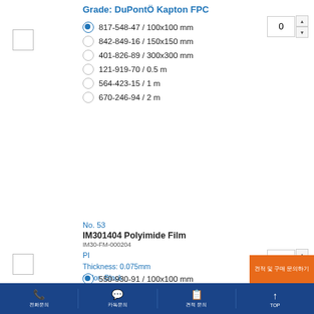Grade: DuPontÖ Kapton FPC
817-548-47 / 100x100 mm (selected)
842-849-16 / 150x150 mm
401-826-89 / 300x300 mm
121-919-70 / 0.5 m
564-423-15 / 1 m
670-246-94 / 2 m
No. 53
IM301404 Polyimide Film
IM30-FM-000204
PI
Thickness: 0.075mm
Color: Black
Grade: DuPontÖ Kapton B
550-930-91 / 100x100 mm (selected)
996-670-29 / 150x150 mm
586-950-70 / 300x300 mm
653-794-48 / 0.5 m
437-836-89 / 1 m
433-710-64 / 2 m
전화 문의 | 카톡 문의 | 견적 문의 | TOP